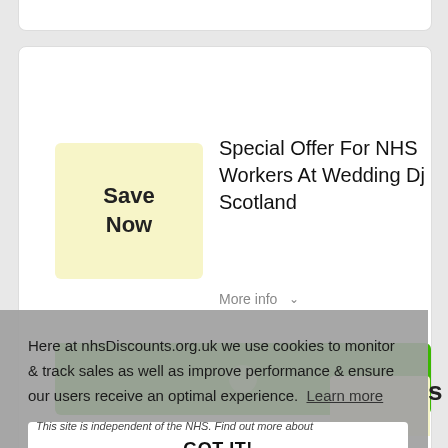Special Offer For NHS Workers At Wedding Dj Scotland
More info
[Figure (screenshot): Green button with partial white circle icon]
Here at nhsDiscounts.org.uk we use cookies to monitor & track sales as well as improve performance & ensure our users receive an optimal experience. Learn more
GOT IT!
This site is independent of the NHS. Find out more about